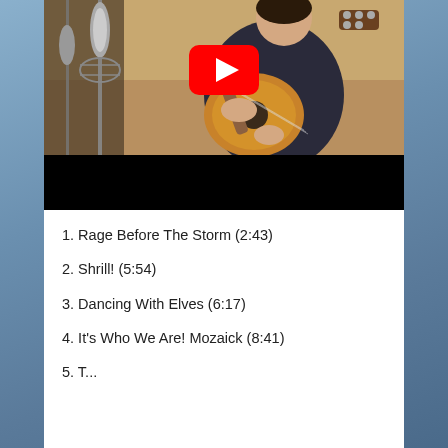[Figure (screenshot): YouTube video thumbnail showing a man playing acoustic guitar in a recording studio with microphones, with a YouTube play button overlay. Lower portion is black bar (video player).]
1. Rage Before The Storm (2:43)
2. Shrill! (5:54)
3. Dancing With Elves (6:17)
4. It's Who We Are! Mozaick (8:41)
5. [partially cut off]